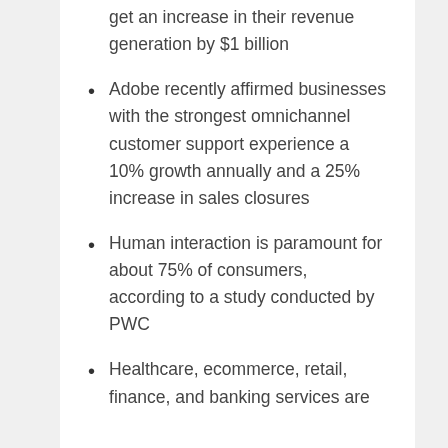get an increase in their revenue generation by $1 billion
Adobe recently affirmed businesses with the strongest omnichannel customer support experience a 10% growth annually and a 25% increase in sales closures
Human interaction is paramount for about 75% of consumers, according to a study conducted by PWC
Healthcare, ecommerce, retail, finance, and banking services are